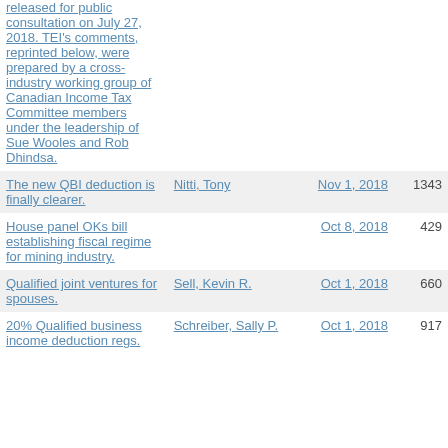| Title | Author | Date | Number |
| --- | --- | --- | --- |
| released for public consultation on July 27, 2018. TEI's comments, reprinted below, were prepared by a cross-industry working group of Canadian Income Tax Committee members under the leadership of Sue Wooles and Rob Dhindsa. |  |  |  |
| The new QBI deduction is finally clearer. | Nitti, Tony | Nov 1, 2018 | 1343 |
| House panel OKs bill establishing fiscal regime for mining industry. |  | Oct 8, 2018 | 429 |
| Qualified joint ventures for spouses. | Sell, Kevin R. | Oct 1, 2018 | 660 |
| 20% Qualified business income deduction regs. | Schreiber, Sally P. | Oct 1, 2018 | 917 |